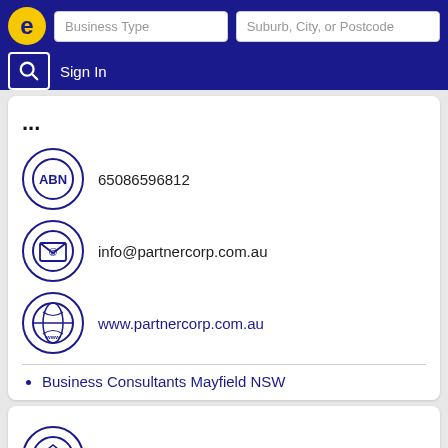Business Type | Suburb, City, or Postcode | Sign In
65086596812
info@partnercorp.com.au
www.partnercorp.com.au
Business Consultants Mayfield NSW
Data Security Services
Sandgate